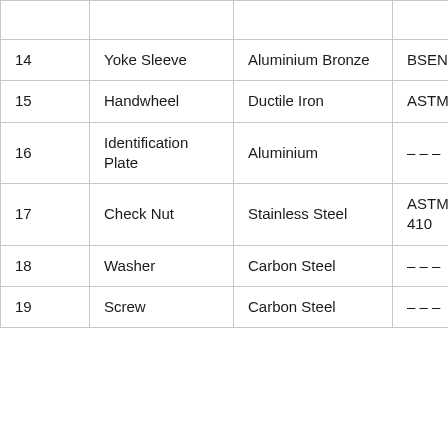|  |  |  |  |
| --- | --- | --- | --- |
| 14 | Yoke Sleeve | Aluminium Bronze | BSEN 1983 AB – 1 |
| 15 | Handwheel | Ductile Iron | ASTM A 53... |
| 16 | Identification Plate | Aluminium | – – – |
| 17 | Check Nut | Stainless Steel | ASTM A 27... Type 410 |
| 18 | Washer | Carbon Steel | – – – |
| 19 | Screw | Carbon Steel | – – – |